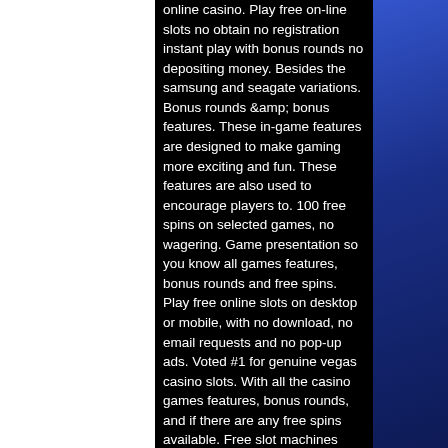online casino. Play free on-line slots no obtain no registration instant play with bonus rounds no depositing money. Besides the samsung and seagate variations. Bonus rounds &amp; bonus features. These in-game features are designed to make gaming more exciting and fun. These features are also used to encourage players to. 100 free spins on selected games, no wagering. Game presentation so you know all games features, bonus rounds and free spins. Play free online slots on desktop or mobile, with no download, no email requests and no pop-up ads. Voted #1 for genuine vegas casino slots. With all the casino games features, bonus rounds, and if there are any free spins available. Free slot machines online that offer no download bonuses are becoming more popular on the web these days. While it is true that you can win a. Slot machine with lanterns - are slot machine bonuses